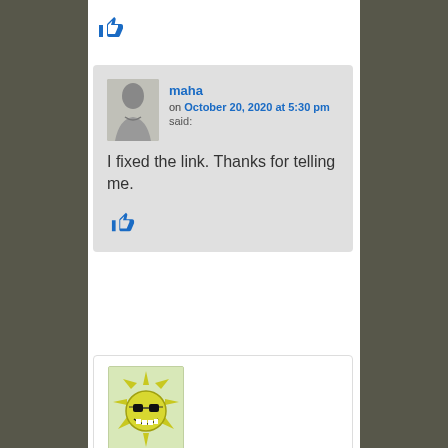[Figure (illustration): Thumbs up icon (like button) in blue]
maha
on October 20, 2020 at 5:30 pm
said:

I fixed the link. Thanks for telling me.
[Figure (illustration): Thumbs up icon (like button) inside comment block]
[Figure (illustration): Cartoon sun character avatar with sunglasses at bottom of page]